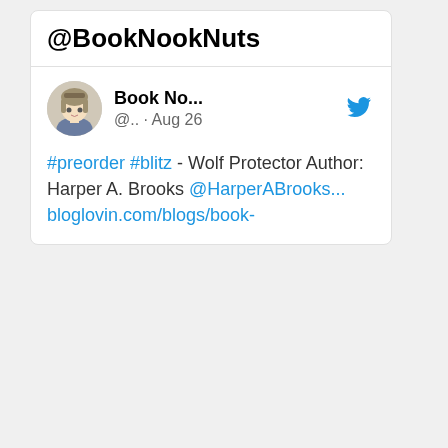@BookNookNuts
[Figure (screenshot): Tweet card from Book No... (@..) posted Aug 26 with Twitter bird logo and anime-style avatar, showing text: #preorder #blitz - Wolf Protector Author: Harper A. Brooks @HarperABrooks... bloglovin.com/blogs/book-]
#preorder #blitz - Wolf Protector Author: Harper A. Brooks @HarperABrooks... bloglovin.com/blogs/book-